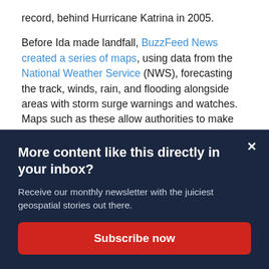record, behind Hurricane Katrina in 2005.
Before Ida made landfall, BuzzFeed News created a series of maps, using data from the National Weather Service (NWS), forecasting the track, winds, rain, and flooding alongside areas with storm surge warnings and watches. Maps such as these allow authorities to make decisive emergency decision making with New Orleans Mayor LaToya Cantrell ordering the mandatory
More content like this directly in your inbox?
Receive our monthly newsletter with the juiciest geospatial stories out there.
Subscribe now